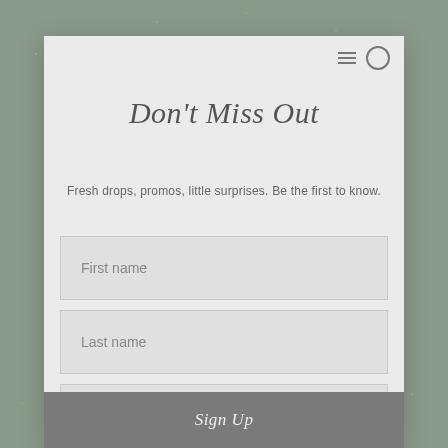[Figure (screenshot): Newsletter signup modal overlay on a decorative background. Modal contains title 'Don't Miss Out', subtitle text, three form fields (First name, Last name, Email address), and a Sign Up button.]
Don't Miss Out
Fresh drops, promos, little surprises. Be the first to know.
First name
Last name
Email address
Sign Up